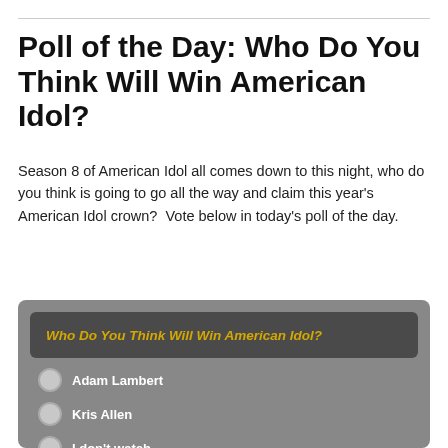Poll of the Day: Who Do You Think Will Win American Idol?
Season 8 of American Idol all comes down to this night, who do you think is going to go all the way and claim this year's American Idol crown?  Vote below in today's poll of the day.
[Figure (screenshot): Poll widget with dark gray background. Header bar reads 'Who Do You Think Will Win American Idol?' in yellow italic text on dark background. Three radio button options: 'Adam Lambert', 'Kris Allen', 'I don't watch'. Below the options are a 'Vote' button and a 'View Results' link.]